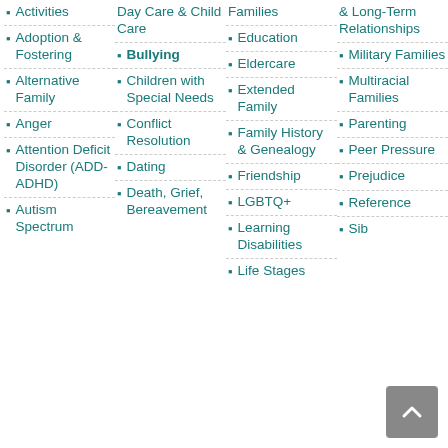Activities
Adoption & Fostering
Alternative Family
Anger
Attention Deficit Disorder (ADD-ADHD)
Autism Spectrum
Day Care & Child Care
Bullying
Children with Special Needs
Conflict Resolution
Dating
Death, Grief, Bereavement
Families
Education
Eldercare
Extended Family
Family History & Genealogy
Friendship
LGBTQ+
Learning Disabilities
Life Stages
& Long-Term Relationships
Military Families
Multiracial Families
Parenting
Peer Pressure
Prejudice
Reference
Siblings
Toilet